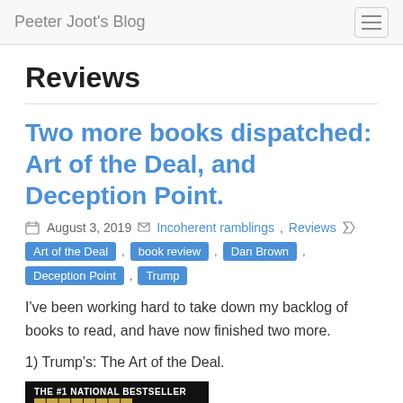Peeter Joot's Blog
Reviews
Two more books dispatched: Art of the Deal, and Deception Point.
August 3, 2019   Incoherent ramblings, Reviews   Art of the Deal , book review , Dan Brown , Deception Point , Trump
I've been working hard to take down my backlog of books to read, and have now finished two more.
1) Trump's: The Art of the Deal.
[Figure (photo): Book cover showing 'THE #1 NATIONAL BESTSELLER' text on a dark background with golden lettering below]